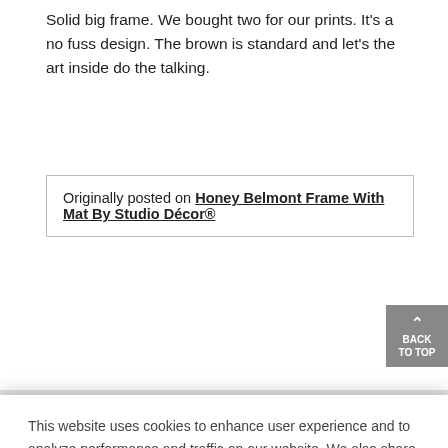Solid big frame. We bought two for our prints. It's a no fuss design. The brown is standard and let's the art inside do the talking.
Originally posted on Honey Belmont Frame With Mat By Studio Décor®
This website uses cookies to enhance user experience and to analyze performance and traffic on our website. We also share information about your use of our site with our social media, advertising and analytics partners. To learn more about cookies, including how to disable them, click on Cookie Preferences.
Cookie Preferences
Got It